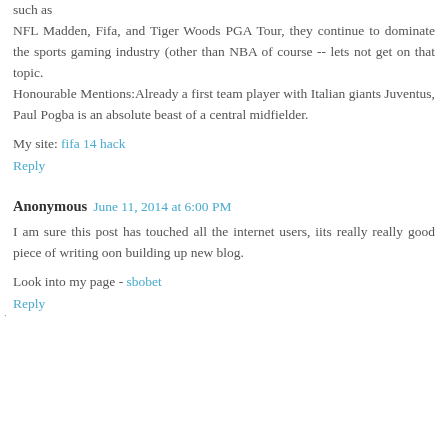such as NFL Madden, Fifa, and Tiger Woods PGA Tour, they continue to dominate the sports gaming industry (other than NBA of course -- lets not get on that topic. Honourable Mentions:Already a first team player with Italian giants Juventus, Paul Pogba is an absolute beast of a central midfielder.
My site: fifa 14 hack
Reply
Anonymous June 11, 2014 at 6:00 PM
I am sure this post has touched all the internet users, iits really really good piece of writing oon building up new blog.
Look into my page - sbobet
Reply